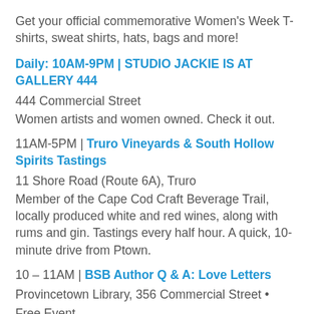Get your official commemorative Women's Week T-shirts, sweat shirts, hats, bags and more!
Daily: 10AM-9PM | STUDIO JACKIE IS AT GALLERY 444
444 Commercial Street
Women artists and women owned. Check it out.
11AM-5PM | Truro Vineyards & South Hollow Spirits Tastings
11 Shore Road (Route 6A), Truro
Member of the Cape Cod Craft Beverage Trail, locally produced white and red wines, along with rums and gin. Tastings every half hour. A quick, 10-minute drive from Ptown.
10 – 11AM | BSB Author Q & A: Love Letters
Provincetown Library, 356 Commercial Street • Free Event